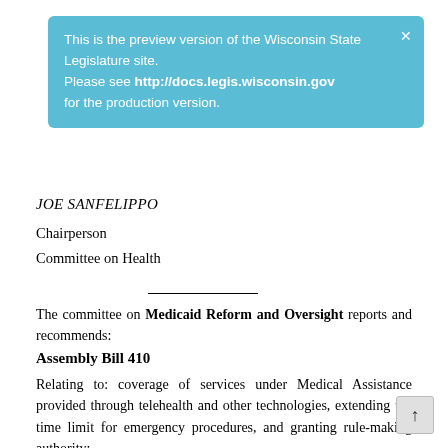[Figure (infographic): Blue notification banner reading: This is the preview version of the Wisconsin State Legislature site. Please see http://docs.legis.wisconsin.gov for the production version. With an X close button.]
JOE SANFELIPPO
Chairperson
Committee on Health
The committee on Medicaid Reform and Oversight reports and recommends:
Assembly Bill 410
Relating to: coverage of services under Medical Assistance provided through telehealth and other technologies, extending the time limit for emergency procedures, and granting rule-making authority: